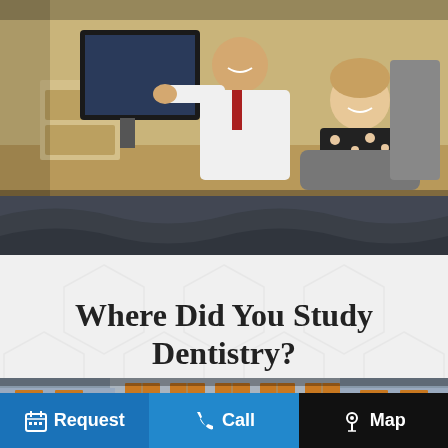[Figure (photo): A dentist in a white coat showing something on a monitor screen to a female patient seated in a dental chair, both smiling, in a dental office setting]
Where Did You Study Dentistry?
[Figure (photo): Exterior of a building with lit windows at dusk, showing classical architecture with multiple large windows with warm orange glow]
Request   Call   Map